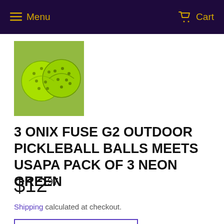Menu   Cart
[Figure (photo): Two neon green Onix Fuse G2 outdoor pickleball balls with holes, shown on a light background]
3 ONIX FUSE G2 OUTDOOR PICKLEBALL BALLS MEETS USAPA PACK OF 3 NEON GREEN
$12.97
Shipping calculated at checkout.
ADD TO CART